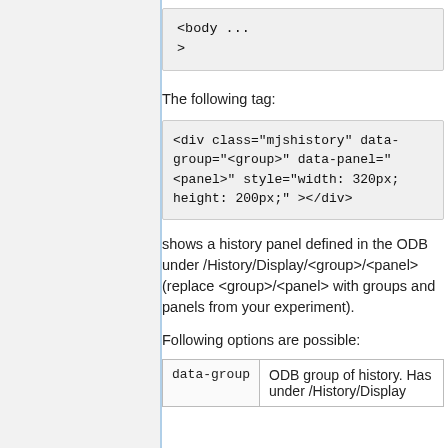[Figure (screenshot): Code block showing: <body ... onload="mhistory_init();">]
The following tag:
[Figure (screenshot): Code block showing: <div class="mjshistory" data-group="<group>" data-panel="<panel>" style="width: 320px; height: 200px;" ></div>]
shows a history panel defined in the ODB under /History/Display/<group>/<panel> (replace <group>/<panel> with groups and panels from your experiment).
Following options are possible:
|  |  |
| --- | --- |
| data-group | ODB group of history. Has under /History/Display |